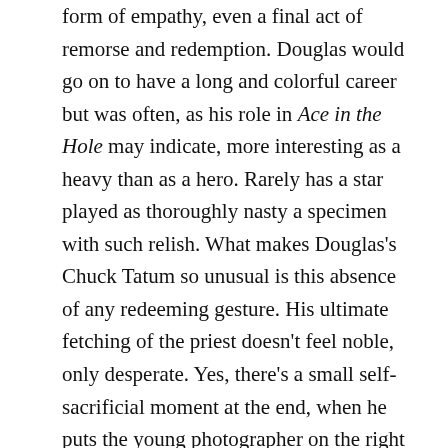form of empathy, even a final act of remorse and redemption. Douglas would go on to have a long and colorful career but was often, as his role in Ace in the Hole may indicate, more interesting as a heavy than as a hero. Rarely has a star played as thoroughly nasty a specimen with such relish. What makes Douglas's Chuck Tatum so unusual is this absence of any redeeming gesture. His ultimate fetching of the priest doesn't feel noble, only desperate. Yes, there's a small self-sacrificial moment at the end, when he puts the young photographer on the right track, confesses, and insists that the newspaper tell the whole story. But the awareness is nothing new: he's always known what he was. It's part of the self-loathing that seems almost to have propelled Tatum from the